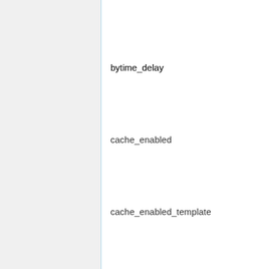bytime_delay
cache_enabled
cache_enabled_template
charrefs_bad_entity
charrefs_bad_numeric
checklist_length
clientip_xff_trust_header
clientip_xff_trust_regex
commentnew_msg